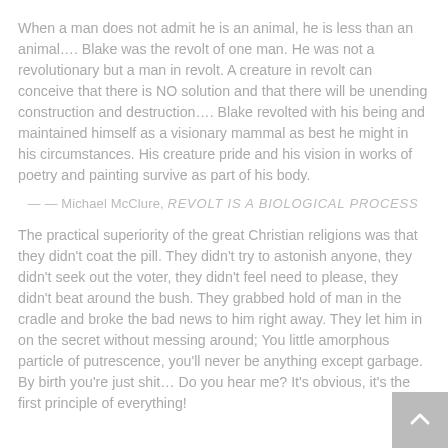When a man does not admit he is an animal, he is less than an animal…. Blake was the revolt of one man. He was not a revolutionary but a man in revolt. A creature in revolt can conceive that there is NO solution and that there will be unending construction and destruction…. Blake revolted with his being and maintained himself as a visionary mammal as best he might in his circumstances. His creature pride and his vision in works of poetry and painting survive as part of his body.
— — Michael McClure, REVOLT IS A BIOLOGICAL PROCESS
The practical superiority of the great Christian religions was that they didn't coat the pill. They didn't try to astonish anyone, they didn't seek out the voter, they didn't feel need to please, they didn't beat around the bush. They grabbed hold of man in the cradle and broke the bad news to him right away. They let him in on the secret without messing around; You little amorphous particle of putrescence, you'll never be anything except garbage. By birth you're just shit… Do you hear me? It's obvious, it's the first principle of everything!